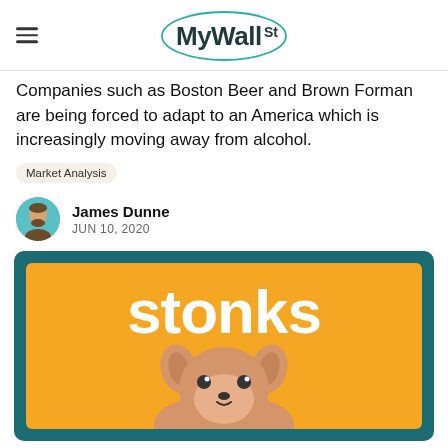MyWallSt
Companies such as Boston Beer and Brown Forman are being forced to adapt to an America which is increasingly moving away from alcohol.
Market Analysis
James Dunne
JUN 10, 2020
[Figure (illustration): Stonks meme image: orange background with large white bold text 'stonks' and a dog (Shiba Inu) below on a teal/dark teal card background]